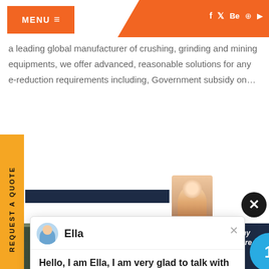MENU   f  t  Be  ®  ▶
a leading global manufacturer of crushing, grinding and mining equipments, we offer advanced, reasonable solutions for any e-reduction requirements including, Government subsidy on…
[Figure (screenshot): Chat popup with avatar of Ella, showing message: Hello, I am Ella, I am very glad to talk with you!]
[Figure (photo): Industrial mining/crushing equipment and scaffolding at a construction site]
REQUEST A QUOTE
Ella
Hello, I am Ella, I am very glad to talk with you!
Have any  click here.
Quot
Enquiry
drobilkalm